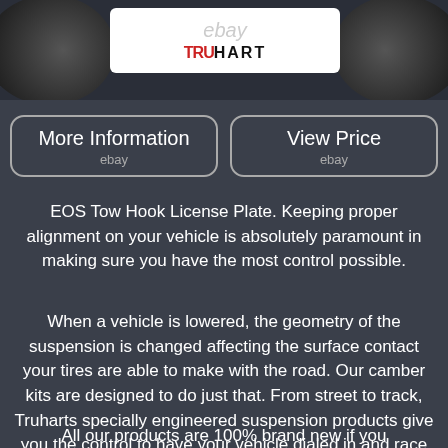[Figure (photo): Product photo area showing TruHart suspension component with eBay and TruHart logo on white box, flanked by black circular suspension parts]
[Figure (other): More Information button with eBay label]
[Figure (other): View Price button with eBay label]
EOS Tow Hook License Plate. Keeping proper alignment on your vehicle is absolutely paramount in making sure you have the most control possible.
When a vehicle is lowered, the geometry of the suspension is changed affecting the surface contact your tires are able to make with the road. Our camber kits are designed to do just that. From street to track, Truharts specially engineered suspension products give you the control to have your vehicle dialed in and race ready.
All our products are 100% brand new if you